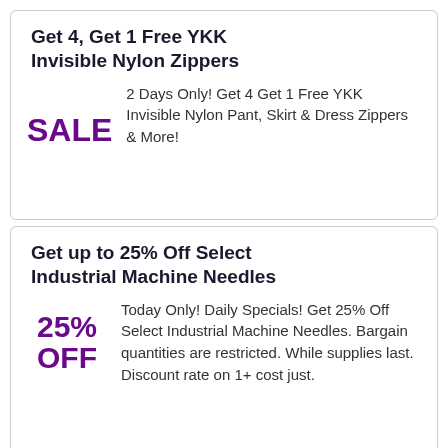Get 4, Get 1 Free YKK Invisible Nylon Zippers
SALE
2 Days Only! Get 4 Get 1 Free YKK Invisible Nylon Pant, Skirt & Dress Zippers & More!
Get up to 25% Off Select Industrial Machine Needles
25% OFF
Today Only! Daily Specials! Get 25% Off Select Industrial Machine Needles. Bargain quantities are restricted. While supplies last. Discount rate on 1+ cost just.